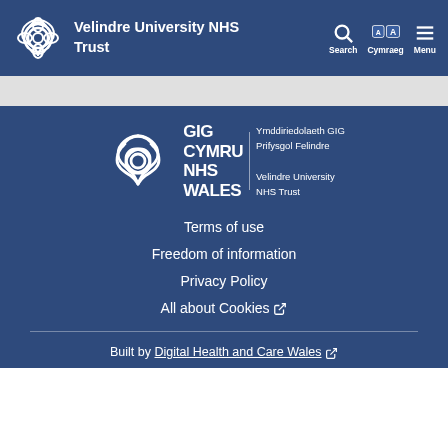Velindre University NHS Trust — Search Cymraeg Menu
[Figure (logo): Velindre University NHS Trust logo and GIG Cymru NHS Wales bilingual logo with knot emblem]
Terms of use
Freedom of information
Privacy Policy
All about Cookies (external link)
Built by Digital Health and Care Wales (external link)